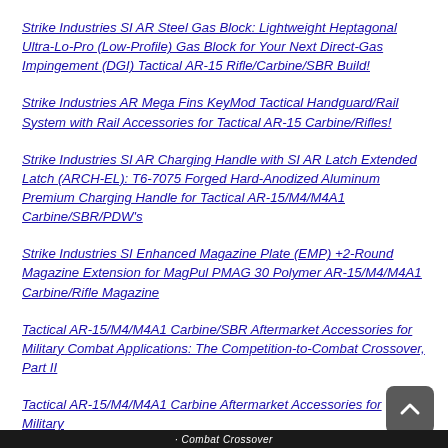Strike Industries SI AR Steel Gas Block: Lightweight Heptagonal Ultra-Lo-Pro (Low-Profile) Gas Block for Your Next Direct-Gas Impingement (DGI) Tactical AR-15 Rifle/Carbine/SBR Build!
Strike Industries AR Mega Fins KeyMod Tactical Handguard/Rail System with Rail Accessories for Tactical AR-15 Carbine/Rifles!
Strike Industries SI AR Charging Handle with SI AR Latch Extended Latch (ARCH-EL): T6-7075 Forged Hard-Anodized Aluminum Premium Charging Handle for Tactical AR-15/M4/M4A1 Carbine/SBR/PDW's
Strike Industries SI Enhanced Magazine Plate (EMP) +2-Round Magazine Extension for MagPul PMAG 30 Polymer AR-15/M4/M4A1 Carbine/Rifle Magazine
Tactical AR-15/M4/M4A1 Carbine/SBR Aftermarket Accessories for Military Combat Applications: The Competition-to-Combat Crossover, Part II
Tactical AR-15/M4/M4A1 Carbine Aftermarket Accessories for Military